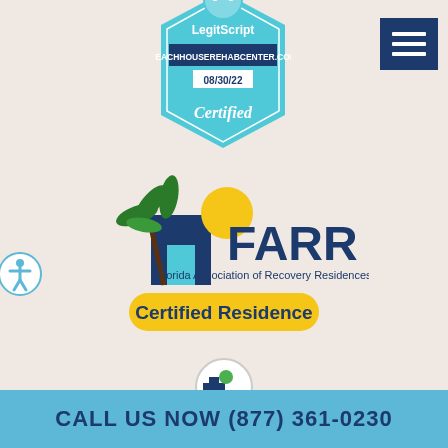[Figure (logo): LegitScript Certified badge for beachhouserehabcenter.com dated 08/30/22, teal hexagon shape with white text]
[Figure (logo): Hamburger menu navigation button, dark navy blue square with three white horizontal lines]
[Figure (logo): FARR - Florida Association of Recovery Residences logo with palm tree, house, and sun icon, and yellow Certified Residence badge]
[Figure (logo): Accessibility icon, circular symbol with person figure, teal circle outline]
[Figure (logo): Center of Excellence Behavioral Health logo with medical cross in circle]
[Figure (logo): Florida Department partial logo, partially cut off at bottom]
CALL US NOW (877) 361-0230